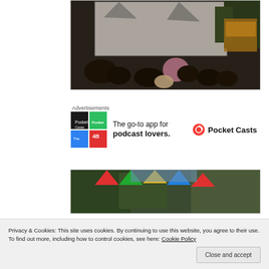[Figure (photo): Outdoor movie screening with people seated watching a large projection screen, trees visible in background]
Advertisements
[Figure (logo): Pocket Casts advertisement — colorful quadrant logo, text: 'The go-to app for podcast lovers.' with Pocket Casts logo]
[Figure (photo): Outdoor festival scene with trees and colorful flags]
Privacy & Cookies: This site uses cookies. By continuing to use this website, you agree to their use.
To find out more, including how to control cookies, see here: Cookie Policy
Close and accept